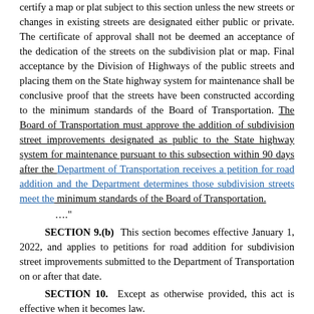certify a map or plat subject to this section unless the new streets or changes in existing streets are designated either public or private. The certificate of approval shall not be deemed an acceptance of the dedication of the streets on the subdivision plat or map. Final acceptance by the Division of Highways of the public streets and placing them on the State highway system for maintenance shall be conclusive proof that the streets have been constructed according to the minimum standards of the Board of Transportation. The Board of Transportation must approve the addition of subdivision street improvements designated as public to the State highway system for maintenance pursuant to this subsection within 90 days after the Department of Transportation receives a petition for road addition and the Department determines those subdivision streets meet the minimum standards of the Board of Transportation.
…."
SECTION 9.(b) This section becomes effective January 1, 2022, and applies to petitions for road addition for subdivision street improvements submitted to the Department of Transportation on or after that date.
SECTION 10. Except as otherwise provided, this act is effective when it becomes law.
In the General Assembly read three times and ratified this the 23rd day of August, 2021.